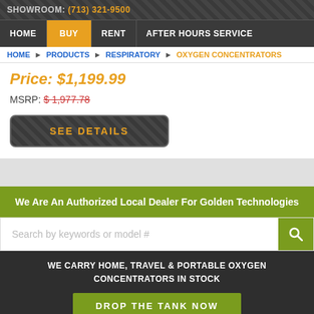SHOWROOM: (713) 321-9500
HOME | BUY | RENT | AFTER HOURS SERVICE
HOME > PRODUCTS > RESPIRATORY > OXYGEN CONCENTRATORS
Price: $1,199.99
MSRP: $1,977.78
SEE DETAILS
We Are An Authorized Local Dealer For Golden Technologies
Search by keywords or model #
WE CARRY HOME, TRAVEL & PORTABLE OXYGEN CONCENTRATORS IN STOCK
DROP THE TANK NOW